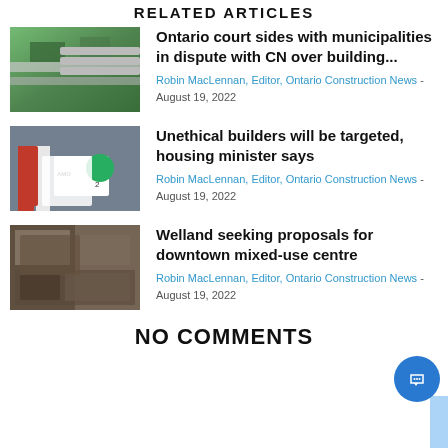RELATED ARTICLES
[Figure (photo): Aerial view of a highway through green fields]
Ontario court sides with municipalities in dispute with CN over building...
Robin MacLennan, Editor, Ontario Construction News - August 19, 2022
[Figure (photo): Speaker at a podium at an AMO event with flags and a green circle display in background]
Unethical builders will be targeted, housing minister says
Robin MacLennan, Editor, Ontario Construction News - August 19, 2022
[Figure (photo): Aerial view of an industrial or urban area with buildings]
Welland seeking proposals for downtown mixed-use centre
Robin MacLennan, Editor, Ontario Construction News - August 19, 2022
NO COMMENTS